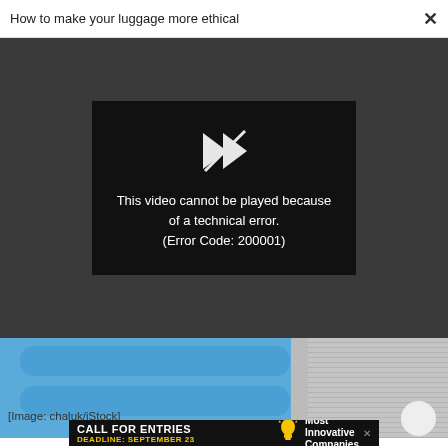How to make your luggage more ethical
[Figure (screenshot): Video player error screen on dark gray background. A black error box in the center contains a broken play icon and the text: 'This video cannot be played because of a technical error. (Error Code: 200001)']
[Figure (photo): Partial photo showing blue rounded chat bubble shapes against a gray textured background, with a white circle in the lower right corner.]
[Image: chaluk/iStock]
[Figure (screenshot): Advertisement banner: CALL FOR ENTRIES, DEADLINE: SEPTEMBER 23 with a light bulb icon, and text 'Most Innovative Companies']